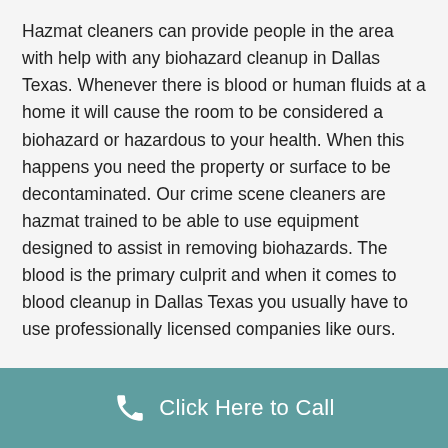Hazmat cleaners can provide people in the area with help with any biohazard cleanup in Dallas Texas. Whenever there is blood or human fluids at a home it will cause the room to be considered a biohazard or hazardous to your health. When this happens you need the property or surface to be decontaminated. Our crime scene cleaners are hazmat trained to be able to use equipment designed to assist in removing biohazards. The blood is the primary culprit and when it comes to blood cleanup in Dallas Texas you usually have to use professionally licensed companies like ours.
Blood Cleanup Dallas
Click Here to Call